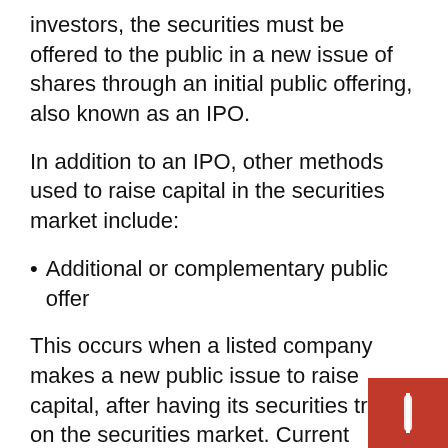investors, the securities must be offered to the public in a new issue of shares through an initial public offering, also known as an IPO.
In addition to an IPO, other methods used to raise capital in the securities market include:
Additional or complementary public offer
This occurs when a listed company makes a new public issue to raise capital, after having its securities traded on the securities market. Current investors are offered pro rata rights based on the shares they currently own and new investors can participate in newly issued shares.
Question of rights
Unlike a new public offering, a company can raise funds from its existing shareholders by issuing new